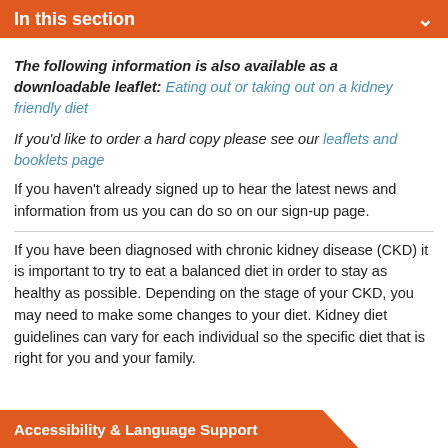In this section
The following information is also available as a downloadable leaflet: Eating out or taking out on a kidney friendly diet
If you'd like to order a hard copy please see our leaflets and booklets page
If you haven't already signed up to hear the latest news and information from us you can do so on our sign-up page.
If you have been diagnosed with chronic kidney disease (CKD) it is important to try to eat a balanced diet in order to stay as healthy as possible. Depending on the stage of your CKD, you may need to make some changes to your diet. Kidney diet guidelines can vary for each individual so [ask your renal dietitian or] the specific diet that is right for you and your family.
Accessibility & Language Support